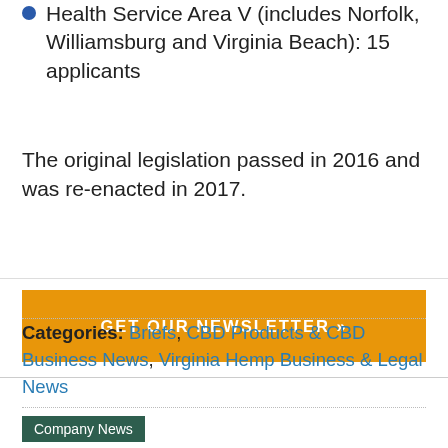Health Service Area V (includes Norfolk, Williamsburg and Virginia Beach): 15 applicants
The original legislation passed in 2016 and was re-enacted in 2017.
[Figure (other): Orange button: GET OUR NEWSLETTER »]
Categories: Briefs, CBD Products & CBD Business News, Virginia Hemp Business & Legal News
Company News